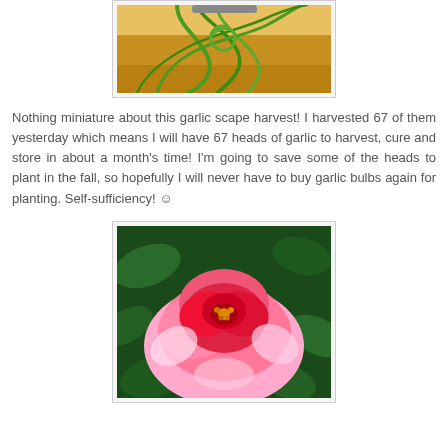[Figure (photo): Garlic scapes harvested and curled on a yellow/golden surface, green curling stems visible]
Nothing miniature about this garlic scape harvest! I harvested 67 of them yesterday which means I will have 67 heads of garlic to harvest, cure and store in about a month's time! I'm going to save some of the heads to plant in the fall, so hopefully I will never have to buy garlic bulbs again for planting. Self-sufficiency! ☺
[Figure (photo): Close-up photo of a vibrant red and pink rose bloom with white-edged petals, surrounded by dark green leaves]